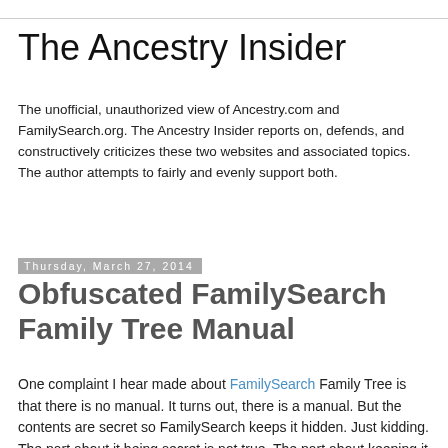The Ancestry Insider
The unofficial, unauthorized view of Ancestry.com and FamilySearch.org. The Ancestry Insider reports on, defends, and constructively criticizes these two websites and associated topics. The author attempts to fairly and evenly support both.
Thursday, March 27, 2014
Obfuscated FamilySearch Family Tree Manual
One complaint I hear made about FamilySearch Family Tree is that there is no manual. It turns out, there is a manual. But the contents are secret so FamilySearch keeps it hidden. Just kidding. The part about it being secret is not true. The part about keeping it hidden, well that is more true than you might think.